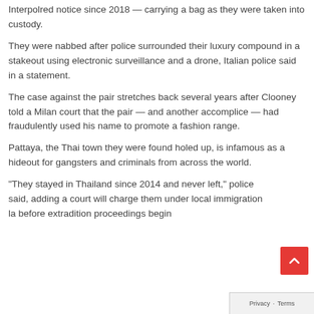Interpolred notice since 2018 — carrying a bag as they were taken into custody.
They were nabbed after police surrounded their luxury compound in a stakeout using electronic surveillance and a drone, Italian police said in a statement.
The case against the pair stretches back several years after Clooney told a Milan court that the pair — and another accomplice — had fraudulently used his name to promote a fashion range.
Pattaya, the Thai town they were found holed up, is infamous as a hideout for gangsters and criminals from across the world.
“They stayed in Thailand since 2014 and never left,” police said, adding a court will charge them under local immigration la before extradition proceedings begin